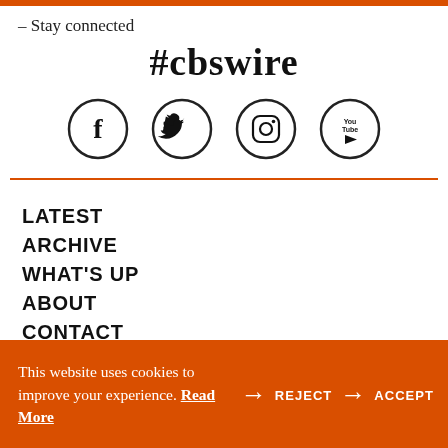– Stay connected
#cbswire
[Figure (illustration): Four social media icons in circles: Facebook (f), Twitter (bird), Instagram (camera), YouTube (play button with 'You Tube' text)]
LATEST
ARCHIVE
WHAT'S UP
ABOUT
CONTACT
This website uses cookies to improve your experience. Read More  → REJECT  → ACCEPT